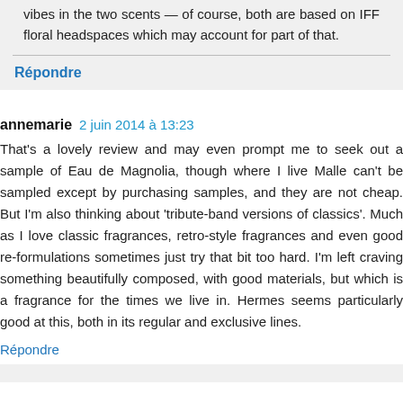vibes in the two scents — of course, both are based on IFF floral headspaces which may account for part of that.
Répondre
annemarie 2 juin 2014 à 13:23
That's a lovely review and may even prompt me to seek out a sample of Eau de Magnolia, though where I live Malle can't be sampled except by purchasing samples, and they are not cheap. But I'm also thinking about 'tribute-band versions of classics'. Much as I love classic fragrances, retro-style fragrances and even good re-formulations sometimes just try that bit too hard. I'm left craving something beautifully composed, with good materials, but which is a fragrance for the times we live in. Hermes seems particularly good at this, both in its regular and exclusive lines.
Répondre